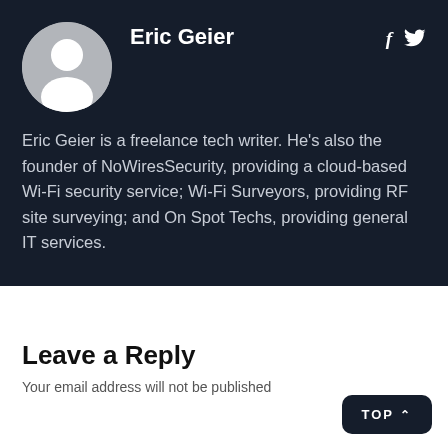[Figure (illustration): Circular avatar with gray background showing a white silhouette of a person (default user avatar)]
Eric Geier
[Figure (infographic): Social media icons: Facebook (f) and Twitter (bird) in white]
Eric Geier is a freelance tech writer. He's also the founder of NoWiresSecurity, providing a cloud-based Wi-Fi security service; Wi-Fi Surveyors, providing RF site surveying; and On Spot Techs, providing general IT services.
Leave a Reply
Your email address will not be published